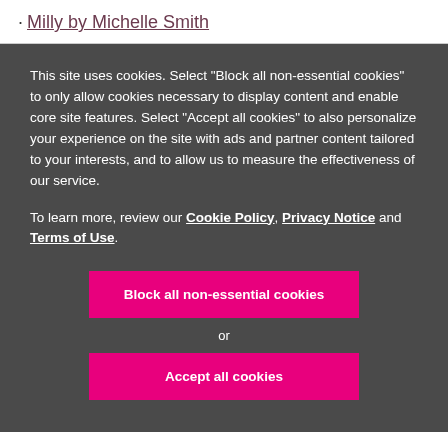· Milly by Michelle Smith
This site uses cookies. Select "Block all non-essential cookies" to only allow cookies necessary to display content and enable core site features. Select "Accept all cookies" to also personalize your experience on the site with ads and partner content tailored to your interests, and to allow us to measure the effectiveness of our service.
To learn more, review our Cookie Policy, Privacy Notice and Terms of Use.
Block all non-essential cookies
or
Accept all cookies